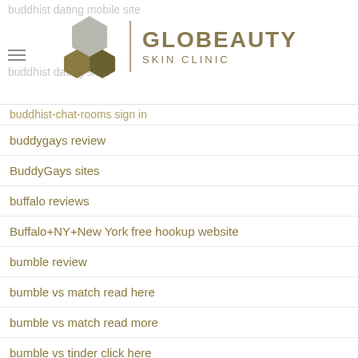GLOBEAUTY SKIN CLINIC
buddhist dating mobile site
buddhist dating sites
buddhist-chat-rooms sign in
buddygays review
BuddyGays sites
buffalo reviews
Buffalo+NY+New York free hookup website
bumble review
bumble vs match read here
bumble vs match read more
bumble vs tinder click here
bumble-inceleme visitors
bumble-vs-coffee-meets-bagel site